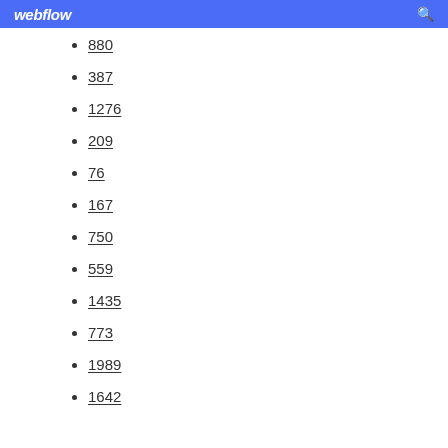webflow
880
387
1276
209
76
167
750
559
1435
773
1989
1642